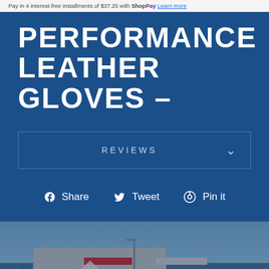Pay in 4 interest-free installments of $37.25 with Shop Pay Learn more
PERFORMANCE LEATHER GLOVES –
REVIEWS
Share   Tweet   Pin it
[Figure (photo): Exterior photo of a motorcycle dealership building with tents, a street pole, motorcycles, and a blue outdoor canopy. Scene is tinted blue.]
Chat with us